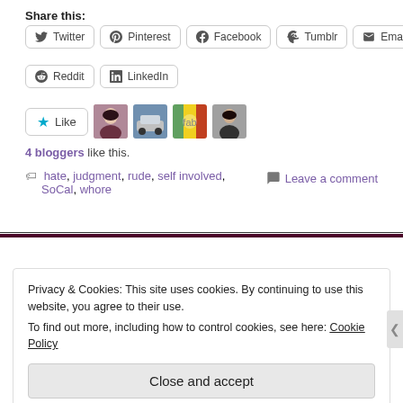Share this:
Twitter, Pinterest, Facebook, Tumblr, Email, Reddit, LinkedIn
[Figure (other): Like button with star icon and 4 blogger avatar images]
4 bloggers like this.
hate, judgment, rude, self involved, SoCal, whore — Leave a comment
Privacy & Cookies: This site uses cookies. By continuing to use this website, you agree to their use.
To find out more, including how to control cookies, see here: Cookie Policy
Close and accept